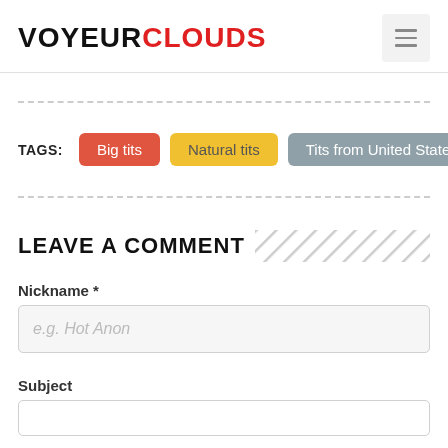VOYEURCLOUDS
Big tits
Natural tits
Tits from United States
LEAVE A COMMENT
Nickname *
e.g. Hot Anon
Subject